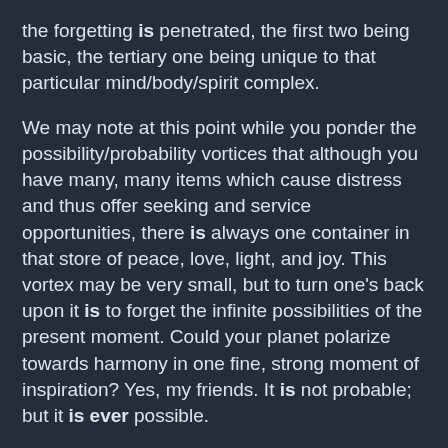the forgetting is penetrated, the first two being basic, the tertiary one being unique to that particular mind/body/spirit complex.
We may note at this point while you ponder the possibility/probability vortices that although you have many, many items which cause distress and thus offer seeking and service opportunities, there is always one container in that store of peace, love, light, and joy. This vortex may be very small, but to turn one's back upon it is to forget the infinite possibilities of the present moment. Could your planet polarize towards harmony in one fine, strong moment of inspiration? Yes, my friends. It is not probable; but it is ever possible.
67.28 Questioner: Thank you very much. I have a statement here that I will quickly read and have you comment on the accuracy or inaccuracy. In general, the archetypical mind is a representation